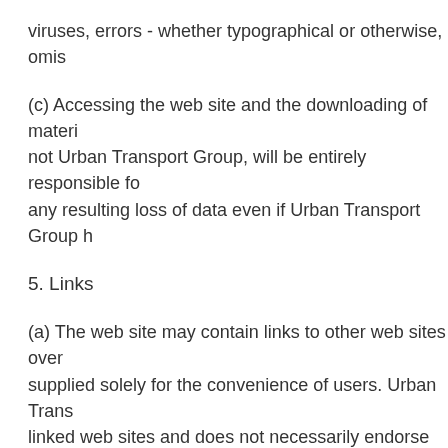viruses, errors - whether typographical or otherwise, omis
(c) Accessing the web site and the downloading of materi not Urban Transport Group, will be entirely responsible fo any resulting loss of data even if Urban Transport Group h
5. Links
(a) The web site may contain links to other web sites over supplied solely for the convenience of users. Urban Trans linked web sites and does not necessarily endorse the vie providing them in any way. Urban Transport Group does n no control over the availability of the linked pages.
(b) Providers of other web sites may place text-based link Group's prior permission. However such links must not op another web site. Pages from the Urban Transport Group The use of the Urban Transport Group logo or the logos o